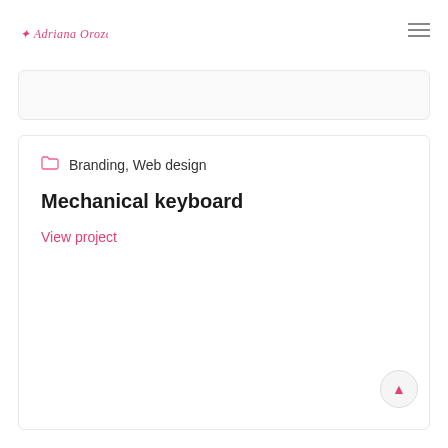Adriana Orozco — logo and hamburger menu
Branding, Web design
Mechanical keyboard
View project